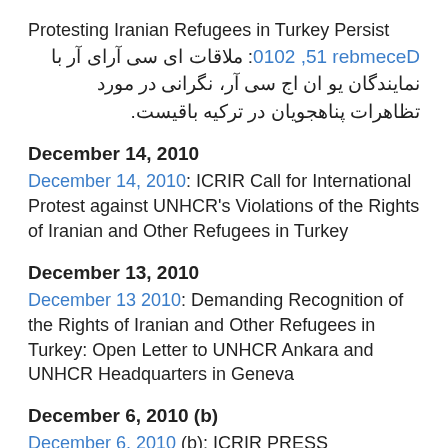Protesting Iranian Refugees in Turkey Persist
December 15, 2010: ملاقات ای سی آرای آر با نمایندگان یو ان اج سی آر، نگرانی در مورد تظاهرات پناهجویان در ترکیه باقیست.
December 14, 2010
December 14, 2010: ICRIR Call for International Protest against UNHCR's Violations of the Rights of Iranian and Other Refugees in Turkey
December 13, 2010
December 13 2010: Demanding Recognition of the Rights of Iranian and Other Refugees in Turkey: Open Letter to UNHCR Ankara and UNHCR Headquarters in Geneva
December 6, 2010 (b)
December 6, 2010 (b): ICRIR PRESS RELEASE: Iranian